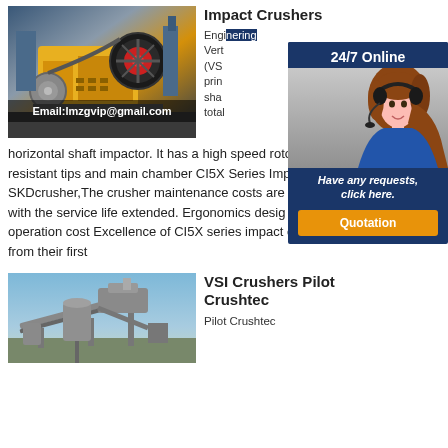[Figure (photo): Industrial jaw crusher machine in yellow color with red flywheel in a factory setting. Text overlay: Email:lmzgvip@gmail.com]
Impact Crushers
Engineering... Vertical Shaft Impactor (VSI) ... principle ... shaft ... total ...
[Figure (infographic): 24/7 Online chat widget with female customer service agent wearing headset. Has 'Have any requests, click here.' text and orange Quotation button.]
horizontal shaft impactor. It has a high speed roto... resistant tips and main chamber CI5X Series Imp... SKDcrusher,The crusher maintenance costs are d... with the service life extended. Ergonomics desig... operation cost Excellence of CI5X series impact crushers comes from their first
[Figure (photo): Industrial crushing/conveying plant equipment outdoors against blue sky]
VSI Crushers Pilot Crushtec
Pilot Crushtec